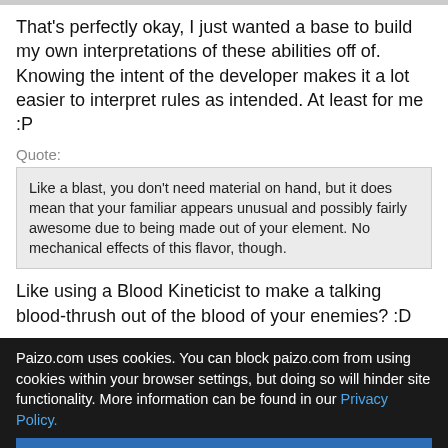That's perfectly okay, I just wanted a base to build my own interpretations of these abilities off of. Knowing the intent of the developer makes it a lot easier to interpret rules as intended. At least for me :P
Quote:
Like a blast, you don't need material on hand, but it does mean that your familiar appears unusual and possibly fairly awesome due to being made out of your element. No mechanical effects of this flavor, though.
Like using a Blood Kineticist to make a talking blood-thrush out of the blood of your enemies? :D
Quote:
I'd say "of your primary element" means if your element is "X" you are looking for an "X elemental". There aren't elementals for void
Paizo.com uses cookies. You can block paizo.com from using cookies within your browser settings, but doing so will hinder site functionality. More information can be found in our Privacy Policy.
OK